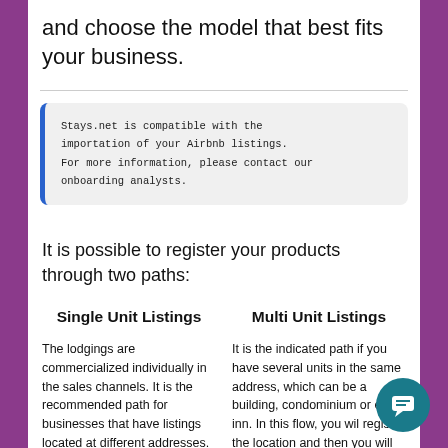and choose the model that best fits your business.
Stays.net is compatible with the importation of your Airbnb listings. For more information, please contact our onboarding analysts.
It is possible to register your products through two paths:
Single Unit Listings
Multi Unit Listings
The lodgings are commercialized individually in the sales channels. It is the recommended path for businesses that have listings located at different addresses.
It is the indicated path if you have several units in the same address, which can be a building, condominium or e... an inn. In this flow, you wil... register the location and then you will register the units.